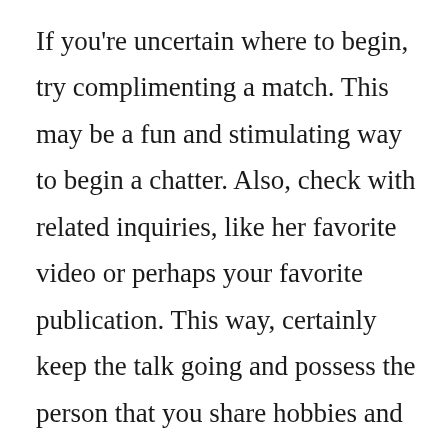If you're uncertain where to begin, try complimenting a match. This may be a fun and stimulating way to begin a chatter. Also, check with related inquiries, like her favorite video or perhaps your favorite publication. This way, certainly keep the talk going and possess the person that you share hobbies and passions. Using a compliment can also assist you to feel more confident about your sales message, which will help you set up a rapport with her.